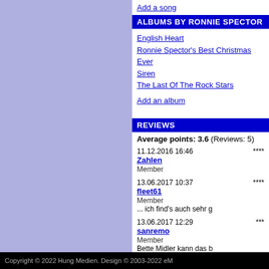Add a song
ALBUMS BY RONNIE SPECTOR
English Heart
Ronnie Spector's Best Christmas Ever
Siren
The Last Of The Rock Stars
Add an album
REVIEWS
Average points: 3.6 (Reviews: 5)
11.12.2016 16:46 **** Zahlen Member
13.06.2017 10:37 **** fleet61 Member ... ich find's auch sehr g
13.06.2017 12:29 *** sanremo Member Bette Midler kann das b
10.04.2020 18:35 *** katzewitti Member der Song gibt mir nicht v
15.01.2022 11:47 **** ems-kopp Member Natürlich eine großartige Januar 2022 gestorbene
Add a review
Copyright © 2022 Hung Medien. Design © 2003-2022 eM